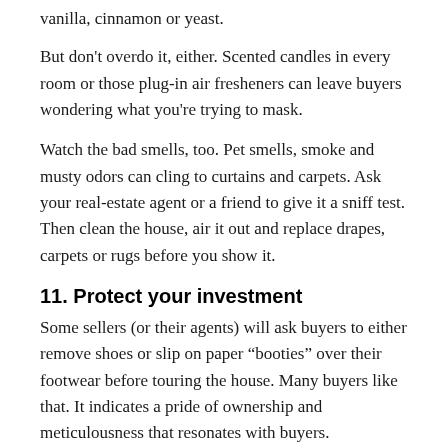vanilla, cinnamon or yeast.
But don't overdo it, either. Scented candles in every room or those plug-in air fresheners can leave buyers wondering what you're trying to mask.
Watch the bad smells, too. Pet smells, smoke and musty odors can cling to curtains and carpets. Ask your real-estate agent or a friend to give it a sniff test. Then clean the house, air it out and replace drapes, carpets or rugs before you show it.
11. Protect your investment
Some sellers (or their agents) will ask buyers to either remove shoes or slip on paper “booties” over their footwear before touring the house. Many buyers like that. It indicates a pride of ownership and meticulousness that resonates with buyers.
12. Use the season to your advantage